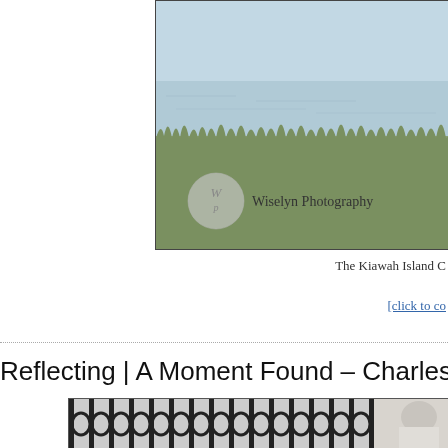[Figure (photo): Photograph of Kiawah Island coastline with water and marsh grass, overlaid with Wiselyn Photography watermark logo (circle with 'Wp') and text 'Wiselyn Photography']
The Kiawah Island C
[click to co
Reflecting | A Moment Found – Charleston Wedding
[Figure (photo): Black and white photograph showing an ornate iron gate with circular/oval decorative elements, with a person (bride?) partially visible on the right side]